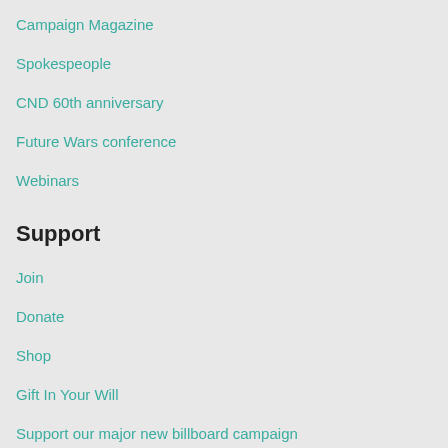Campaign Magazine
Spokespeople
CND 60th anniversary
Future Wars conference
Webinars
Support
Join
Donate
Shop
Gift In Your Will
Support our major new billboard campaign
Peace Education